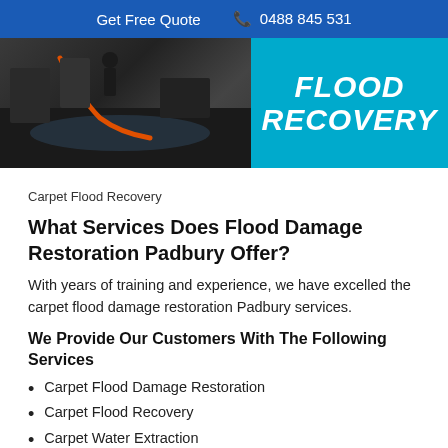Get Free Quote  📞 0488 845 531
[Figure (photo): Hero image showing flood/water damage scene on left side with dark flooded interior and orange hose, and a cyan/teal banner on right with bold white text reading FLOOD RECOVERY]
Carpet Flood Recovery
What Services Does Flood Damage Restoration Padbury Offer?
With years of training and experience, we have excelled the carpet flood damage restoration Padbury services.
We Provide Our Customers With The Following Services
Carpet Flood Damage Restoration
Carpet Flood Recovery
Carpet Water Extraction